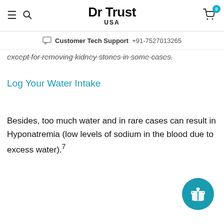Dr Trust USA
Customer Tech Support +91-7527013265
except for removing kidney stones in some cases.
Log Your Water Intake
Besides, too much water and in rare cases can result in Hyponatremia (low levels of sodium in the blood due to excess water).7